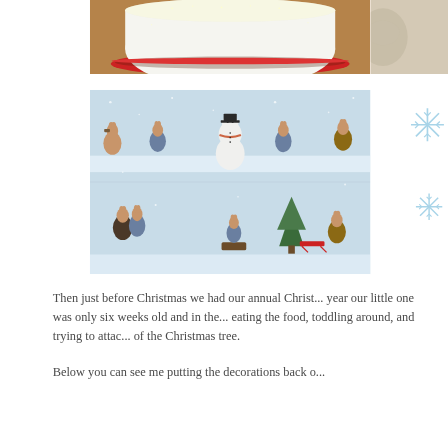[Figure (photo): Top-left photo of a white Christmas cake with sparkly sugar topping on a red plate, sitting on a wooden surface]
[Figure (photo): Partial photo on the right side showing a light-coloured surface with faint impressions]
[Figure (photo): Photo of Beatrix Potter Christmas themed cake band/ribbon showing rabbits, snowman, and winter scenes on a snowy blue-grey background]
Then just before Christmas we had our annual Christ... year our little one was only six weeks old and in the... eating the food, toddling around, and trying to attac... of the Christmas tree.
Below you can see me putting the decorations back o...